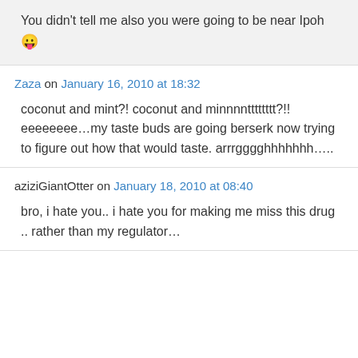You didn't tell me also you were going to be near Ipoh 😛
Zaza on January 16, 2010 at 18:32
coconut and mint?! coconut and minnnntttttttt?!! eeeeeeee…my taste buds are going berserk now trying to figure out how that would taste. arrrgggghhhhhhh…..
aziziGiantOtter on January 18, 2010 at 08:40
bro, i hate you.. i hate you for making me miss this drug .. rather than my regulator…